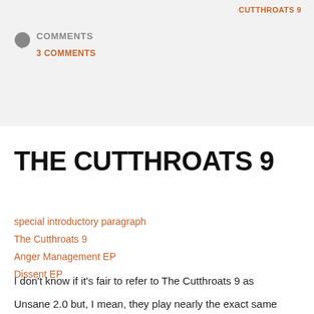CUTTHROATS 9
COMMENTS
3 COMMENTS
THE CUTTHROATS 9
special introductory paragraph
The Cutthroats 9
Anger Management EP
Dissent EP
I don't know if it's fair to refer to The Cutthroats 9 as Unsane 2.0 but, I mean, they play nearly the exact same